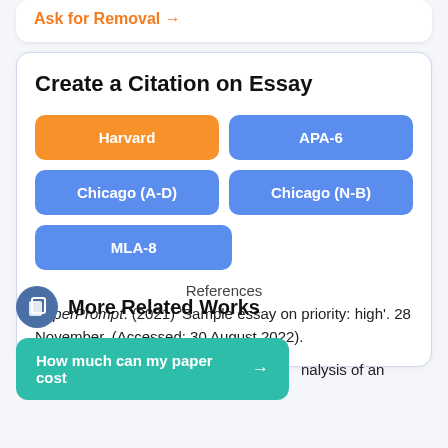Ask for Removal →
Create a Citation on Essay
Harvard
APA-6
Chicago (A-D)
Chicago (N-B)
MLA-8
References
PaperPrompt. (2021) 'Sample essay on priority: high'. 28 November. (Accessed: 30 August 2022).
More Related Works
How much can my paper cost →
nalysis of an